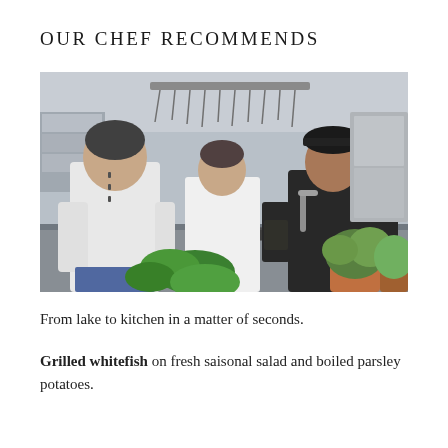OUR CHEF RECOMMENDS
[Figure (photo): Three chefs standing in a professional kitchen. The chef on the left wears a white chef jacket and jeans, holding a pan. The middle chef wears a white chef uniform. The right chef wears a black chef jacket with visible tattoos on his arms. Fresh herbs and plants are visible in the foreground on the kitchen counter.]
From lake to kitchen in a matter of seconds.
Grilled whitefish on fresh saisonal salad and boiled parsley potatoes.